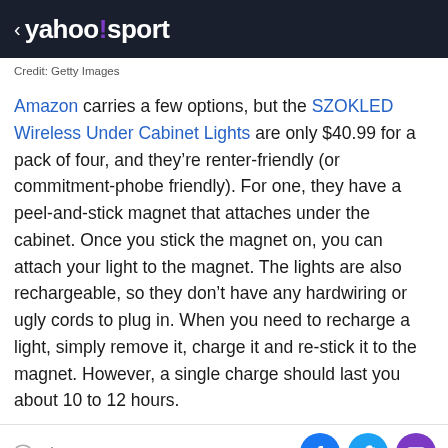< yahoo!sport
Credit: Getty Images
Amazon carries a few options, but the SZOKLED Wireless Under Cabinet Lights are only $40.99 for a pack of four, and they’re renter-friendly (or commitment-phobe friendly). For one, they have a peel-and-stick magnet that attaches under the cabinet. Once you stick the magnet on, you can attach your light to the magnet. The lights are also rechargeable, so they don’t have any hardwiring or ugly cords to plug in. When you need to recharge a light, simply remove it, charge it and re-stick it to the magnet. However, a single charge should last you about 10 to 12 hours.
View comments